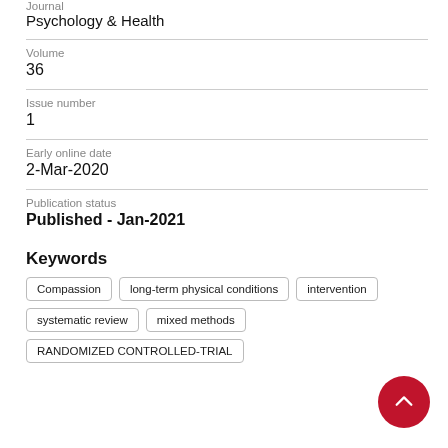Journal
Psychology & Health
Volume
36
Issue number
1
Early online date
2-Mar-2020
Publication status
Published - Jan-2021
Keywords
Compassion
long-term physical conditions
intervention
systematic review
mixed methods
RANDOMIZED CONTROLLED-TRIAL